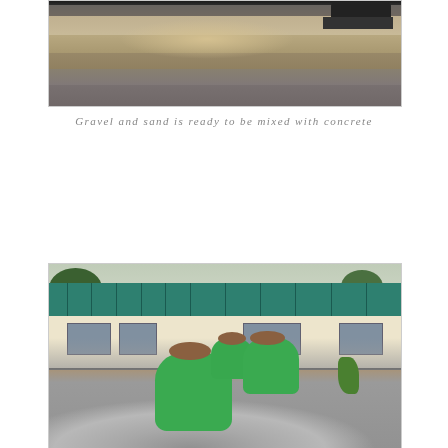[Figure (photo): Aerial/ground-level view of gravel and sand spread on a dirt road surface, with a vehicle visible in the background]
Gravel and sand is ready to be mixed with concrete
[Figure (photo): Three young people wearing green shirts sitting on a large pile of gravel in front of a building with a teal metal roof and orange-painted lower walls]